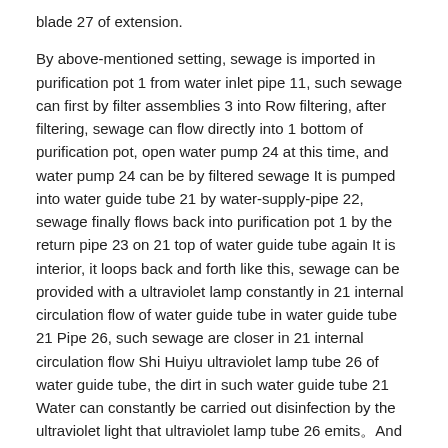blade 27 of extension.
By above-mentioned setting, sewage is imported in purification pot 1 from water inlet pipe 11, such sewage can first by filter assemblies 3 into Row filtering, after filtering, sewage can flow directly into 1 bottom of purification pot, open water pump 24 at this time, and water pump 24 can be by filtered sewage It is pumped into water guide tube 21 by water-supply-pipe 22, sewage finally flows back into purification pot 1 by the return pipe 23 on 21 top of water guide tube again It is interior, it loops back and forth like this, sewage can be provided with a ultraviolet lamp constantly in 21 internal circulation flow of water guide tube in water guide tube 21 Pipe 26, such sewage are closer in 21 internal circulation flow Shi Huiyu ultraviolet lamp tube 26 of water guide tube, the dirt in such water guide tube 21 Water can constantly be carried out disinfection by the ultraviolet light that ultraviolet lamp tube 26 emits。And in water guide tube 21 and transparent pipe in the utility model It is provided with helical blade 27 between 25, so under the action of helical blade 27, will increase flowing of the sewage in water guide tube 21 Path, to improve ultraviolet lamp tube 26 to the sewage